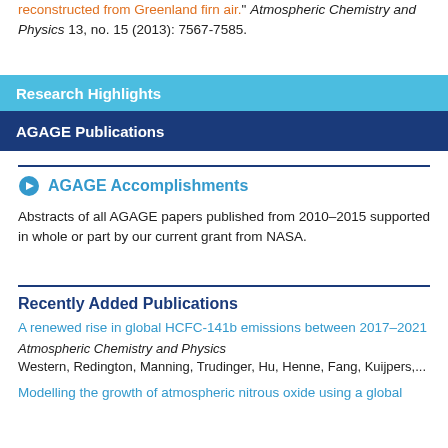reconstructed from Greenland firn air." Atmospheric Chemistry and Physics 13, no. 15 (2013): 7567-7585.
Research Highlights
AGAGE Publications
AGAGE Accomplishments
Abstracts of all AGAGE papers published from 2010–2015 supported in whole or part by our current grant from NASA.
Recently Added Publications
A renewed rise in global HCFC-141b emissions between 2017–2021
Atmospheric Chemistry and Physics
Western, Redington, Manning, Trudinger, Hu, Henne, Fang, Kuijpers,...
Modelling the growth of atmospheric nitrous oxide using a global